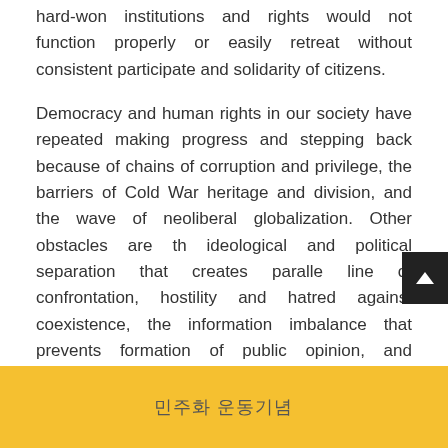hard-won institutions and rights would not function properly or easily retreat without consistent participate and solidarity of citizens.
Democracy and human rights in our society have repeated making progress and stepping back because of chains of corruption and privilege, the barriers of Cold War heritage and division, and the wave of neoliberal globalization. Other obstacles are the ideological and political separation that creates parallel line of confrontation, hostility and hatred against coexistence, the information imbalance that prevents formation of public opinion, and monopoly of the media.
민주화 운동기념